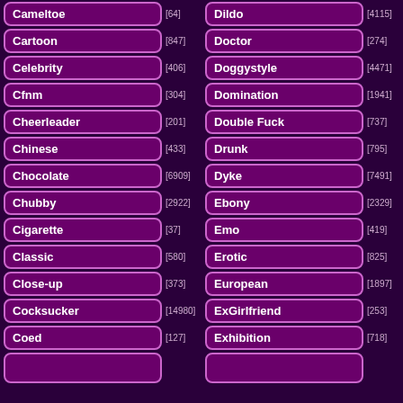Cameltoe [64]
Cartoon [847]
Celebrity [406]
Cfnm [304]
Cheerleader [201]
Chinese [433]
Chocolate [6909]
Chubby [2922]
Cigarette [37]
Classic [580]
Close-up [373]
Cocksucker [14980]
Coed [127]
Dildo [4115]
Doctor [274]
Doggystyle [4471]
Domination [1941]
Double Fuck [737]
Drunk [795]
Dyke [7491]
Ebony [2329]
Emo [419]
Erotic [825]
European [1897]
ExGirlfriend [253]
Exhibition [718]